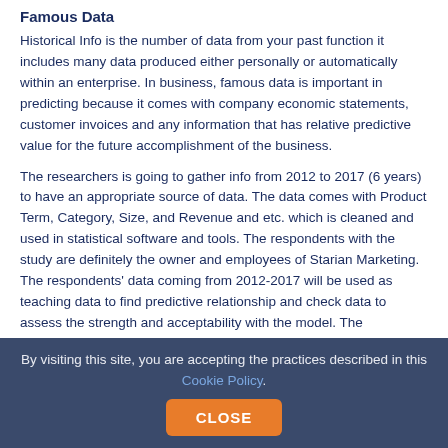Famous Data
Historical Info is the number of data from your past function it includes many data produced either personally or automatically within an enterprise. In business, famous data is important in predicting because it comes with company economic statements, customer invoices and any information that has relative predictive value for the future accomplishment of the business.
The researchers is going to gather info from 2012 to 2017 (6 years) to have an appropriate source of data. The data comes with Product Term, Category, Size, and Revenue and etc. which is cleaned and used in statistical software and tools. The respondents with the study are definitely the owner and employees of Starian Marketing. The respondents' data coming from 2012-2017 will be used as teaching data to find predictive relationship and check data to assess the strength and acceptability with the model. The researchers can let the info and end result be authenticated by the owner of the company for them
By visiting this site, you are accepting the practices described in this Cookie Policy.
CLOSE